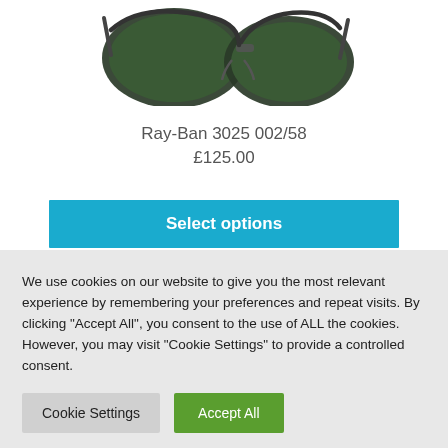[Figure (photo): Ray-Ban aviator sunglasses with dark green lenses and black metal frame, shown from above at slight angle, top half of image visible]
Ray-Ban 3025 002/58
£125.00
Select options
We use cookies on our website to give you the most relevant experience by remembering your preferences and repeat visits. By clicking "Accept All", you consent to the use of ALL the cookies. However, you may visit "Cookie Settings" to provide a controlled consent.
Cookie Settings
Accept All